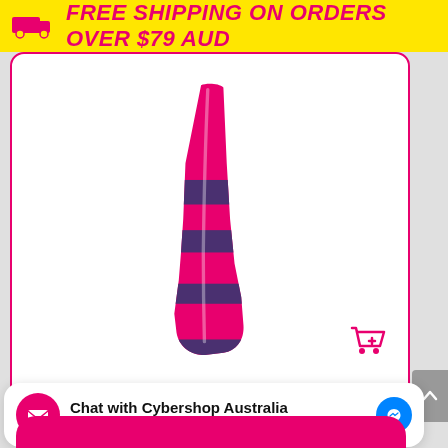FREE SHIPPING ON ORDERS OVER $79 AUD
[Figure (photo): A single sock with bisexual flag colors (pink, purple, blue stripes) displayed against white background. Pink add-to-cart icon in bottom right.]
Bisexual Flag – Socks
Chat with Cybershop Australia
Hi! Thank you for messaging us. How can we help…